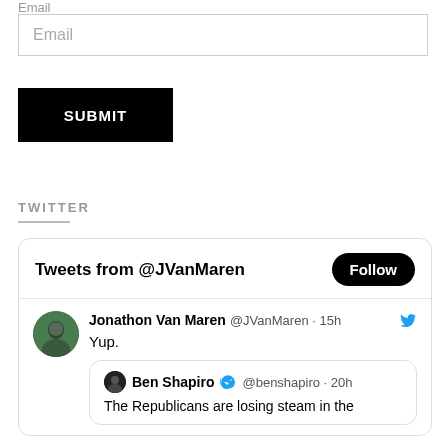Email
Email
SUBMIT
TWITTER
[Figure (screenshot): Twitter widget showing Tweets from @JVanMaren with a Follow button, a tweet by Jonathon Van Maren (@JVanMaren · 15h) saying 'Yup.' and a retweeted quote from Ben Shapiro (@benshapiro · 20h) saying 'The Republicans are losing steam in the']